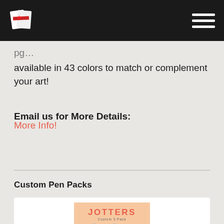[Figure (logo): Navigation header bar with logo (book/flag icon) on left and hamburger menu on right, black background]
available in 43 colors to match or complement your art!
Email us for More Details:
More Info!
Custom Pen Packs
[Figure (photo): Jotters Custom 3 Pack product image showing colorful pens on a peach/salmon background]